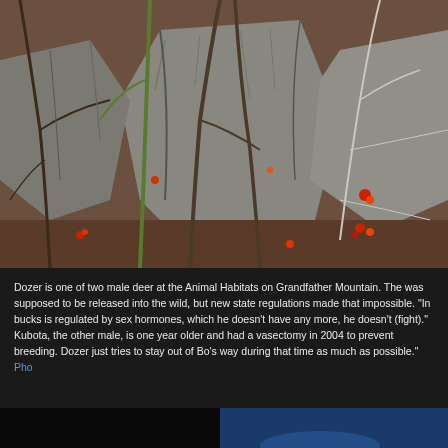[Figure (photo): A photograph of rocky terrain with intertwining bare tree branches and roots against large grey boulders. Some red and orange colored leaves or berries are visible among the branches.]
Dozer is one of two male deer at the Animal Habitats on Grandfather Mountain. T... supposed to be released into the wild, but new state regulations made that impos... bucks is regulated by sex hormones, which he doesn't have any more, he doesn't... Kubota, the other male, is one year older and had a vasectomy in 2004 to preven... Dozer just tries to stay out of Bo's way during that time as much as possible."
[Figure (photo): Partially visible photograph at the bottom of the page, dark on left side and blue toned on right side, appears to show a vehicle or object.]